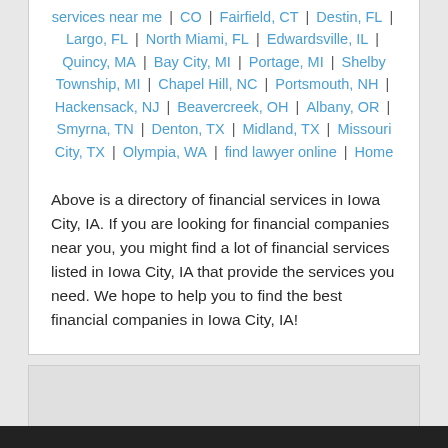services near me | CO | Fairfield, CT | Destin, FL | Largo, FL | North Miami, FL | Edwardsville, IL | Quincy, MA | Bay City, MI | Portage, MI | Shelby Township, MI | Chapel Hill, NC | Portsmouth, NH | Hackensack, NJ | Beavercreek, OH | Albany, OR | Smyrna, TN | Denton, TX | Midland, TX | Missouri City, TX | Olympia, WA | find lawyer online | Home
Above is a directory of financial services in Iowa City, IA. If you are looking for financial companies near you, you might find a lot of financial services listed in Iowa City, IA that provide the services you need. We hope to help you to find the best financial companies in Iowa City, IA!